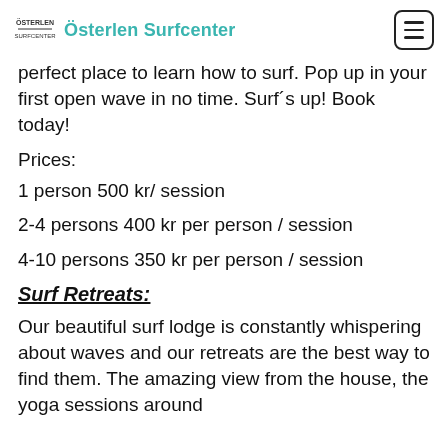Österlen Surfcenter
perfect place to learn how to surf. Pop up in your first open wave in no time. Surf´s up! Book today!
Prices:
1 person 500 kr/ session
2-4 persons 400 kr per person / session
4-10 persons 350 kr per person / session
Surf Retreats:
Our beautiful surf lodge is constantly whispering about waves and our retreats are the best way to find them. The amazing view from the house, the yoga sessions around